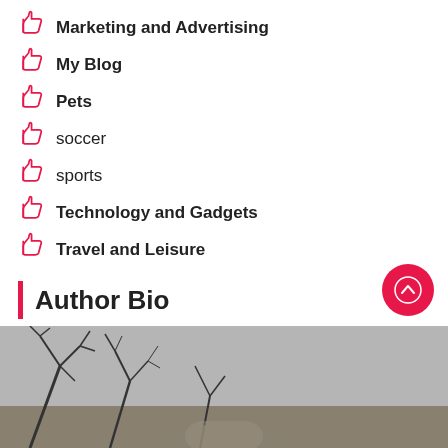Marketing and Advertising
My Blog
Pets
soccer
sports
Technology and Gadgets
Travel and Leisure
Author Bio
Hi I am Jaxon Boss a business analyst and part time blogger. I am crazy about gathering latest information around the world. I have started this blog to share my knowledge & experience.
[Figure (photo): Black and white photo of a person partially visible at the bottom, with tree branches in the background]